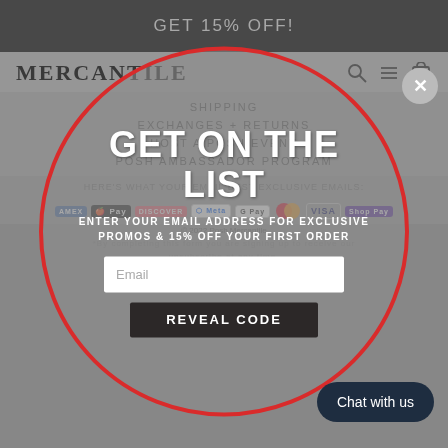GET 15% OFF!
MERCANTILE
SHIPPING
EXCHANGES + RETURNS
HOST A POSH EVENT
POSH AMBASSADOR PROGRAM
HERE'S WHAT YOUR EMAIL BEST EXCLUSIVE EMAILS:
[Figure (screenshot): Payment method icons: Amex, Apple Pay, Discover, Meta Pay, Google Pay, Mastercard, Visa, Shop Pay]
GET ON THE LIST
ENTER YOUR EMAIL ADDRESS FOR EXCLUSIVE PROMOS & 15% OFF YOUR FIRST ORDER
Email
REVEAL CODE
© 2022 Posh Mercantile
*By completing this form you are signing up to receive our emails and can unsubscribe at any time.
Powered by Shopify
No thanks
Chat with us